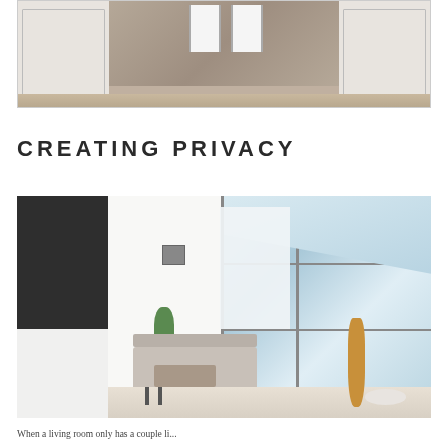[Figure (photo): Close-up photo of a stainless steel kitchen appliance (oven or refrigerator) flanked by white shaker cabinets, with striped dish towels hanging from the handle.]
CREATING PRIVACY
[Figure (photo): Modern bright living room with large floor-to-ceiling glass wall and slanted skylight roof, featuring a sofa, side table with plant, guitar leaning against the glass, and a white pouf. Privacy panel partially obscures view through glass.]
When a living room only has a couple li...